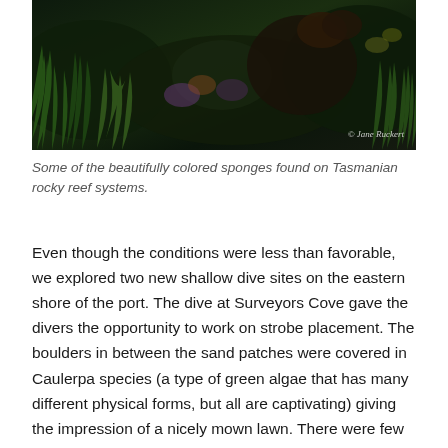[Figure (photo): A dark underwater/nature photograph showing colorful sponges among green marine vegetation on a Tasmanian rocky reef system. A watermark reads '© Jane Ruckert' in the bottom right corner.]
Some of the beautifully colored sponges found on Tasmanian rocky reef systems.
Even though the conditions were less than favorable, we explored two new shallow dive sites on the eastern shore of the port. The dive at Surveyors Cove gave the divers the opportunity to work on strobe placement. The boulders in between the sand patches were covered in Caulerpa species (a type of green algae that has many different physical forms, but all are captivating) giving the impression of a nicely mown lawn. There were few fish, but lots of abalone, feather stars and sponges to try for nice composition shots!